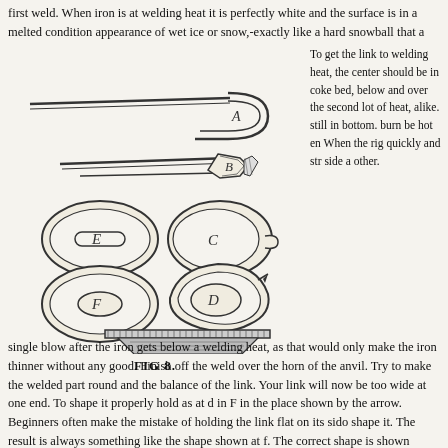first weld. When iron is at welding heat it is perfectly white and the surface is in a melted condition appearance of wet ice or snow,-exactly like a hard snowball that a boy has held for some time in his w
[Figure (engineering-diagram): Engineering diagram labeled FIG 8 showing blacksmithing chain link welding process. Parts labeled A through F: A is a U-shaped link end, B shows the link being forged at the weld point with tongs, C and D show cross-sections of the link at different stages, E and F show oval link cross-sections. Bottom shows an anvil with hatching.]
To get the link to welding heat, the center should be in coke bed, below and over the second lot of heat, alike. still in bottom. burn be hot en When the rig quickly and str side a other.
FIG 8.
single blow after the iron gets below a welding heat, as that would only make the iron thinner without any good. Finish off the weld over the horn of the anvil. Try to make the welded part round and the balance of the link. Your link will now be too wide at one end. To shape it properly hold as at d in F in the place shown by the arrow. Beginners often make the mistake of holding the link flat on its sido shape it. The result is always something like the shape shown at f. The correct shape is shown